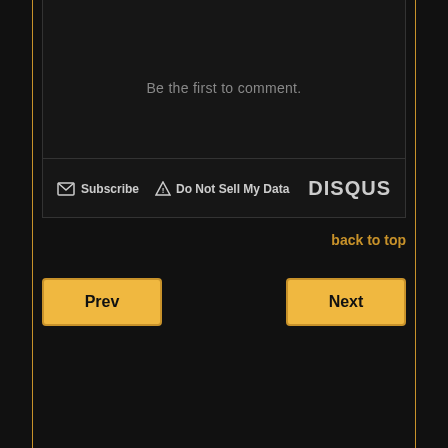Be the first to comment.
Subscribe  Do Not Sell My Data  DISQUS
back to top
Prev
Next